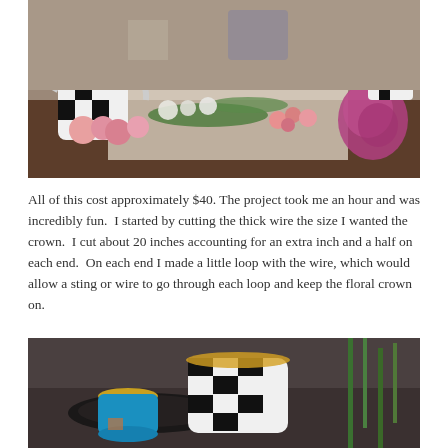[Figure (photo): Kitchen counter covered with flowers: pink roses, white flowers, greenery, large pink/purple flower clusters. A black and white checkered teapot and checkered utensil holder visible. Wooden spoons in background.]
All of this cost approximately $40. The project took me an hour and was incredibly fun.  I started by cutting the thick wire the size I wanted the crown.  I cut about 20 inches accounting for an extra inch and a half on each end.  On each end I made a little loop with the wire, which would allow a sting or wire to go through each loop and keep the floral crown on.
[Figure (photo): Close-up of a black and white checkered teapot on a kitchen counter with green stems/flowers visible on the right side.]